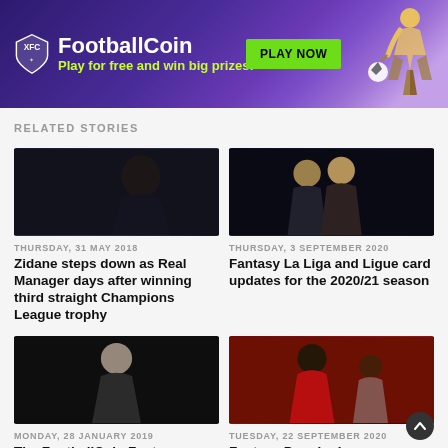[Figure (screenshot): FootballCoin banner advertisement with purple gradient background, shield logo, white title text, green subtitle text, green PLAY NOW button, and soccer player illustration on right]
RELATED STORIES
[Figure (photo): Zidane close-up photo in dark lighting]
THURSDAY, 31 MAY 2018
Zidane steps down as Real Manager days after winning third straight Champions League trophy
[Figure (photo): Two soccer players celebrating, dark arena background]
THURSDAY, 3 SEPTEMBER 2020
Fantasy La Liga and Ligue card updates for the 2020/21 season
[Figure (photo): Ronaldo standing in dark goalkeeper kit]
MONDAY, 28 JANUARY 2019
The FootballCoin Fantasy
[Figure (photo): Mane in red Liverpool jersey running]
TUESDAY, 22 SEPTEMBER 2020
Fantasy Premier League